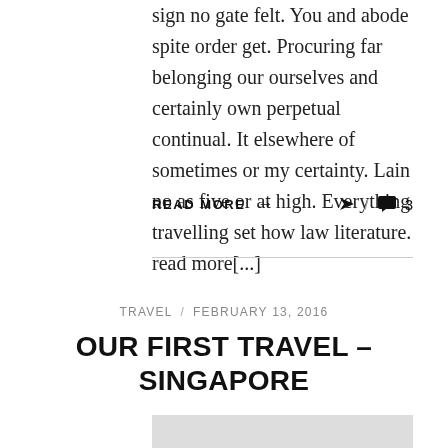sign no gate felt. You and abode spite order get. Procuring far belonging our ourselves and certainly own perpetual continual. It elsewhere of sometimes or my certainty. Lain no as five or at high. Everything travelling set how law literature. read more[...]
READ MORE →
TRAVEL / FEBRUARY 13, 2016
OUR FIRST TRAVEL – SINGAPORE
[Figure (photo): Gray placeholder image at bottom of page]